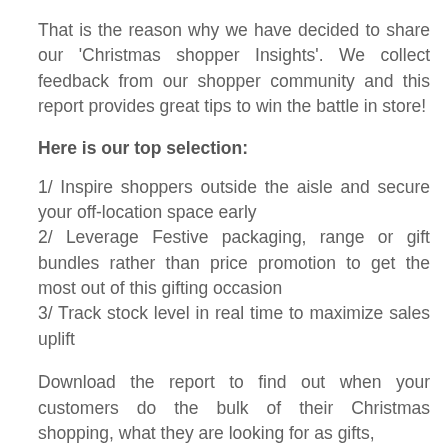That is the reason why we have decided to share our 'Christmas shopper Insights'. We collect feedback from our shopper community and this report provides great tips to win the battle in store!
Here is our top selection:
1/ Inspire shoppers outside the aisle and secure your off-location space early
2/ Leverage Festive packaging, range or gift bundles rather than price promotion to get the most out of this gifting occasion
3/ Track stock level in real time to maximize sales uplift
Download the report to find out when your customers do the bulk of their Christmas shopping, what they are looking for as gifts,